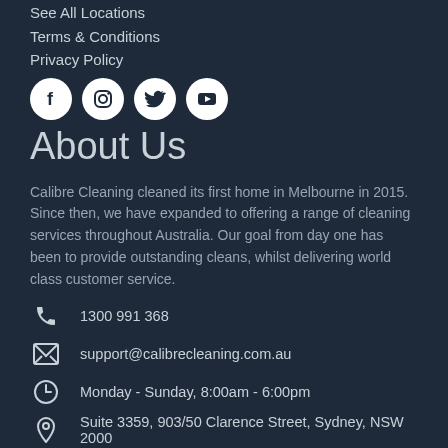See All Locations
Terms & Conditions
Privacy Policy
[Figure (illustration): Four social media icons (Facebook, Instagram, Twitter, YouTube) as white circles on dark background]
About Us
Calibre Cleaning cleaned its first home in Melbourne in 2015. Since then, we have expanded to offering a range of cleaning services throughout Australia. Our goal from day one has been to provide outstanding cleans, whilst delivering world class customer service.
1300 991 368
support@calibrecleaning.com.au
Monday - Sunday, 8:00am - 6:00pm
Suite 3359, 903/50 Clarence Street, Sydney, NSW 2000